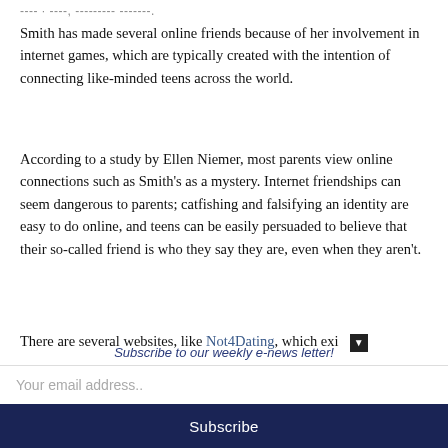---- · ----, --------- -------.
Smith has made several online friends because of her involvement in internet games, which are typically created with the intention of connecting like-minded teens across the world.
According to a study by Ellen Niemer, most parents view online connections such as Smith's as a mystery. Internet friendships can seem dangerous to parents; catfishing and falsifying an identity are easy to do online, and teens can be easily persuaded to believe that their so-called friend is who they say they are, even when they aren't.
There are several websites, like Not4Dating, which exi ▼
Subscribe to our weekly e-news letter!
Your email address..
Subscribe